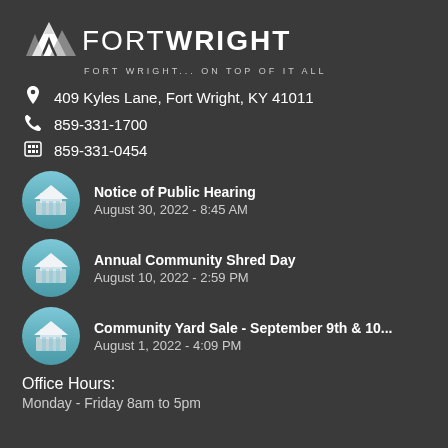[Figure (logo): Fort Wright city logo with mountain SVG and text FORT WRIGHT, tagline: Fort Wright... on TOP of it all]
409 Kyles Lane, Fort Wright, KY 41011
859-331-1700
859-331-0454
Notice of Public Hearing
August 30, 2022 - 8:45 AM
Annual Community Shred Day
August 10, 2022 - 2:59 PM
Community Yard Sale - September 9th & 10...
August 1, 2022 - 4:09 PM
Office Hours:
Monday - Friday 8am to 5pm